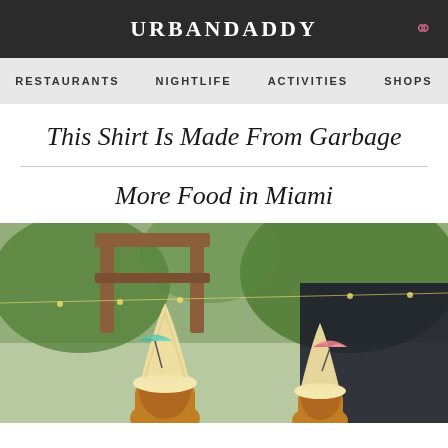URBANDADDY
RESTAURANTS  NIGHTLIFE  ACTIVITIES  SHOPS
This Shirt Is Made From Garbage
More Food in Miami
[Figure (photo): Two soft-serve ice cream cones in pineapple bases with cocktail umbrellas, set against an outdoor restaurant background with wooden pergola and palm trees.]